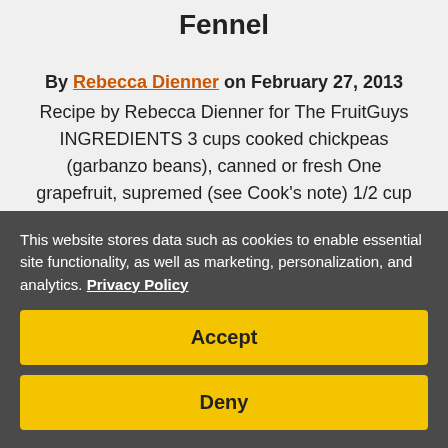Fennel
By Rebecca Dienner on February 27, 2013
Recipe by Rebecca Dienner for The FruitGuys INGREDIENTS 3 cups cooked chickpeas (garbanzo beans), canned or fresh One grapefruit, supremed (see Cook's note) 1/2 cup basil, chiffoned One ...
This website stores data such as cookies to enable essential site functionality, as well as marketing, personalization, and analytics. Privacy Policy
Accept
Deny